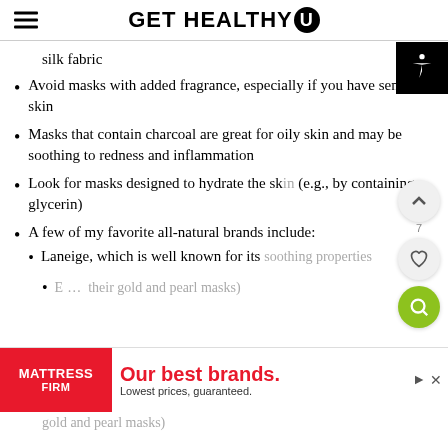GET HEALTHY U
silk fabric
Avoid masks with added fragrance, especially if you have sensitive skin
Masks that contain charcoal are great for oily skin and may be soothing to redness and inflammation
Look for masks designed to hydrate the skin (e.g., by containing glycerin)
A few of my favorite all-natural brands include:
Laneige, which is well known for its soothing properties
E [their gold and pearl masks]
[Figure (other): Advertisement banner for Mattress Firm: 'Our best brands. Lowest prices, guaranteed.']